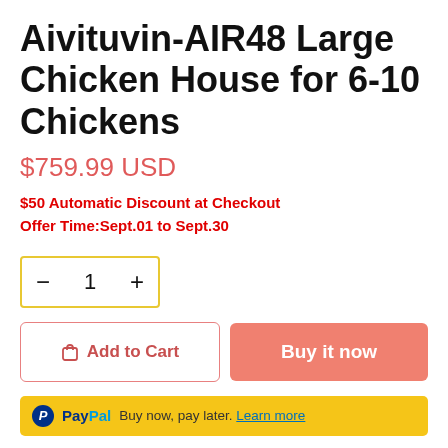Aivituvin-AIR48 Large Chicken House for 6-10 Chickens
$759.99 USD
$50 Automatic Discount at Checkout
Offer Time:Sept.01 to Sept.30
− 1 +
Add to Cart
Buy it now
PayPal Buy now, pay later. Learn more